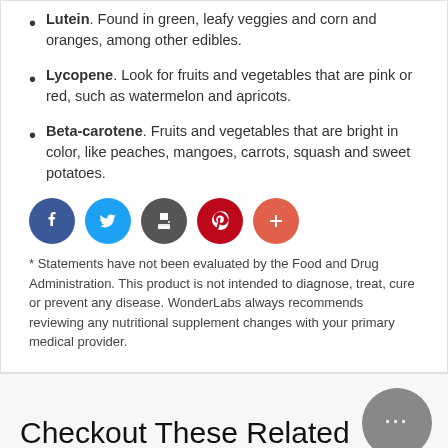Lutein. Found in green, leafy veggies and corn and oranges, among other edibles.
Lycopene. Look for fruits and vegetables that are pink or red, such as watermelon and apricots.
Beta-carotene. Fruits and vegetables that are bright in color, like peaches, mangoes, carrots, squash and sweet potatoes.
[Figure (infographic): Social sharing icons: Facebook (blue), Twitter (light blue), Print (dark gray), Pinterest (red), More/Plus (orange-red)]
* Statements have not been evaluated by the Food and Drug Administration. This product is not intended to diagnose, treat, cure or prevent any disease. WonderLabs always recommends reviewing any nutritional supplement changes with your primary medical provider.
Checkout These Related Products